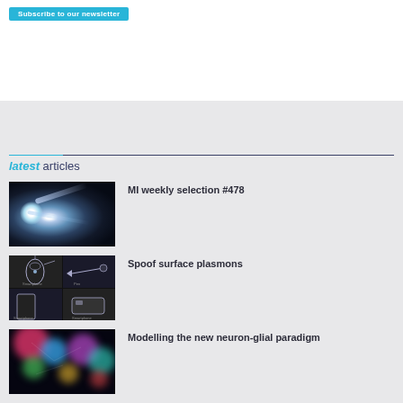latest articles
[Figure (photo): Space/nebula photo with bright glowing light and streaks against dark background]
MI weekly selection #478
[Figure (photo): Four-panel grid showing wearable device and smartphone interaction diagrams]
Spoof surface plasmons
[Figure (photo): Fluorescence microscopy image of neuron-glial cells in multiple colors]
Modelling the new neuron-glial paradigm